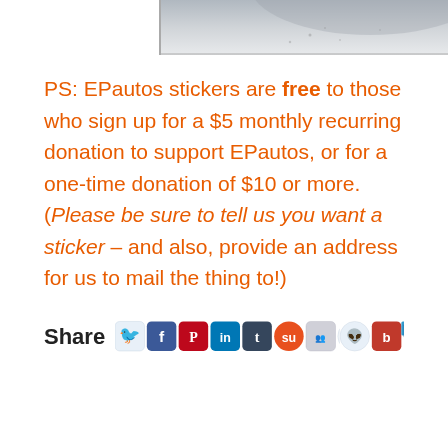[Figure (photo): Partial photo of a car surface/body panel, cropped at top of page]
PS: EPautos stickers are free to those who sign up for a $5 monthly recurring donation to support EPautos, or for a one-time donation of $10 or more. (Please be sure to tell us you want a sticker – and also, provide an address for us to mail the thing to!)
[Figure (infographic): Share bar with social media icons: Twitter, Facebook, Pinterest, LinkedIn, Tumblr, StumbleUpon, Google+, Reddit, BV, Delicious]